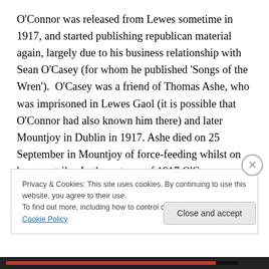O'Connor was released from Lewes sometime in 1917, and started publishing republican material again, largely due to his business relationship with Sean O'Casey (for whom he published 'Songs of the Wren').  O'Casey was a friend of Thomas Ashe, who was imprisoned in Lewes Gaol (it is possible that O'Connor had also known him there) and later Mountjoy in Dublin in 1917. Ashe died on 25 September in Mountjoy of force-feeding whilst on hunger strike. In the autumn of 1917 O'Casey instructed O'Connor to publish the 'Inquest on Thomas Ashe. The
Privacy & Cookies: This site uses cookies. By continuing to use this website, you agree to their use.
To find out more, including how to control cookies, see here: Cookie Policy